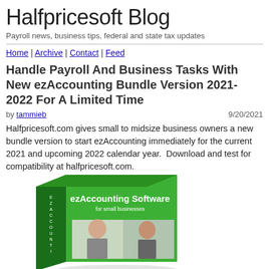Halfpricesoft Blog
Payroll news, business tips, federal and state tax updates
Home | Archive | Contact | Feed
Handle Payroll And Business Tasks With New ezAccounting Bundle Version 2021-2022 For A Limited Time
by tammieb  9/20/2021
Halfpricesoft.com gives small to midsize business owners a new bundle version to start ezAccounting immediately for the current 2021 and upcoming 2022 calendar year.  Download and test for compatibility at halfpricesoft.com.
[Figure (photo): Product box image for ezAccounting Software for small businesses]